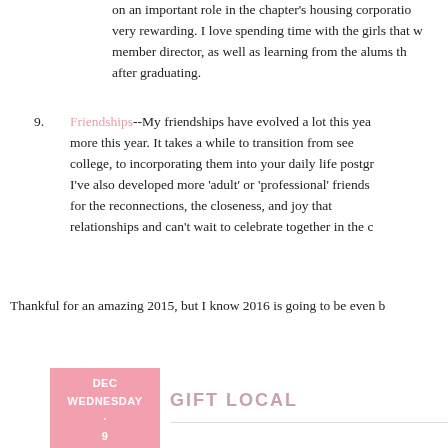on an important role in the chapter's housing corporation. very rewarding. I love spending time with the girls that w member director, as well as learning from the alums th after graduating.
9. Friendships--My friendships have evolved a lot this yea more this year. It takes a while to transition from see college, to incorporating them into your daily life postgr I've also developed more 'adult' or 'professional' friends for the reconnections, the closeness, and joy that relationships and can't wait to celebrate together in the c
Thankful for an amazing 2015, but I know 2016 is going to be even b
GIFT LOCAL
DEC WEDNESDAY · 9